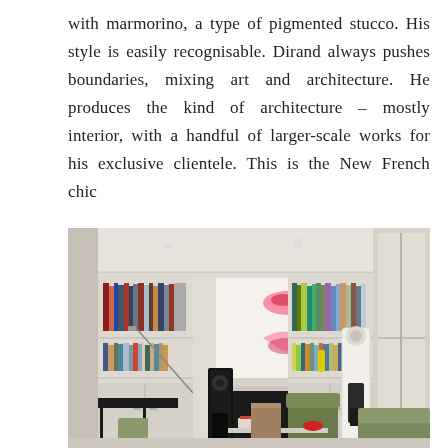with marmorino, a type of pigmented stucco. His style is easily recognisable. Dirand always pushes boundaries, mixing art and architecture. He produces the kind of architecture – mostly interior, with a handful of larger-scale works for his exclusive clientele. This is the New French chic
[Figure (photo): Interior living room photograph showing a Parisian-style room with a marble fireplace, built-in bookshelves on either side, a large abstract artwork above the mantle, modern and classic furniture including chairs and a sofa, and tall windows letting in natural light. Black speaker towers, books, and decorative objects are visible.]